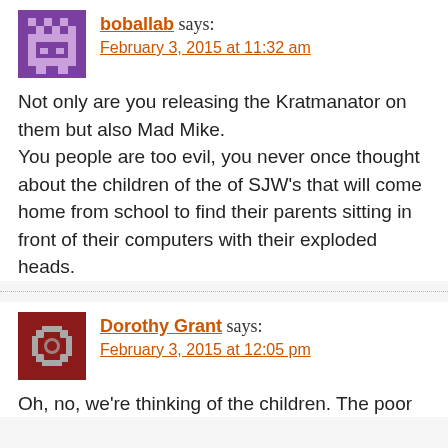[Figure (illustration): Purple pixel-art avatar for user boballab]
boballab says:
February 3, 2015 at 11:32 am
Not only are you releasing the Kratmanator on them but also Mad Mike.
You people are too evil, you never once thought about the children of the of SJW's that will come home from school to find their parents sitting in front of their computers with their exploded heads.
[Figure (illustration): Dark red pixel-art avatar for user Dorothy Grant]
Dorothy Grant says:
February 3, 2015 at 12:05 pm
Oh, no, we're thinking of the children. The poor children who are going to find...